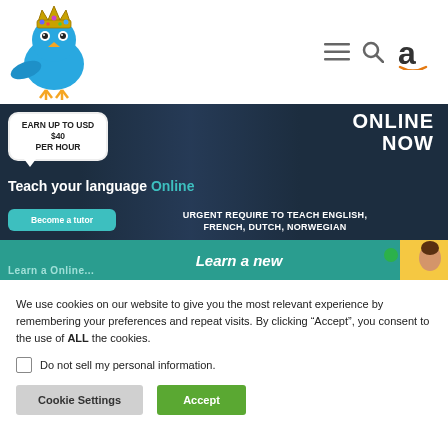[Figure (logo): Blue cartoon bird with crown logo on left; hamburger menu, search, and Amazon 'a' icons on right]
[Figure (infographic): Dark navy banner: speech bubble 'EARN UP TO USD $40 PER HOUR', 'ONLINE NOW' in white on right, 'Teach your language Online' in white/teal, teal 'Become a tutor' button, white text 'URGENT REQUIRE TO TEACH ENGLISH, FRENCH, DUTCH, NORWEGIAN']
[Figure (infographic): Teal banner with 'Learn a new' italic white text, yellow box on right, green dot, partial face image]
We use cookies on our website to give you the most relevant experience by remembering your preferences and repeat visits. By clicking “Accept”, you consent to the use of ALL the cookies.
Do not sell my personal information.
Cookie Settings
Accept